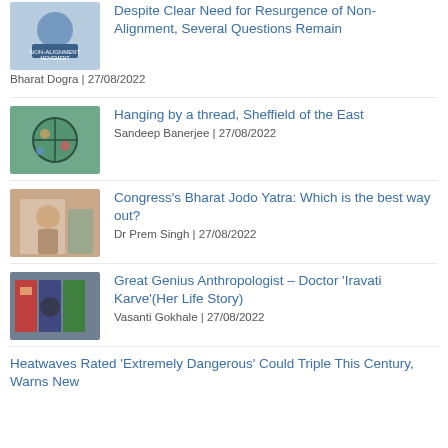[Figure (photo): Non-Alignment Movement logo/image]
Despite Clear Need for Resurgence of Non-Alignment, Several Questions Remain
Bharat Dogra | 27/08/2022
[Figure (photo): Globe with hands illustration]
Hanging by a thread, Sheffield of the East
Sandeep Banerjee | 27/08/2022
[Figure (photo): Person speaking at podium]
Congress's Bharat Jodo Yatra: Which is the best way out?
Dr Prem Singh | 27/08/2022
[Figure (photo): Book covers illustration]
Great Genius Anthropologist – Doctor 'Iravati Karve'(Her Life Story)
Vasanti Gokhale | 27/08/2022
Heatwaves Rated 'Extremely Dangerous' Could Triple This Century, Warns New